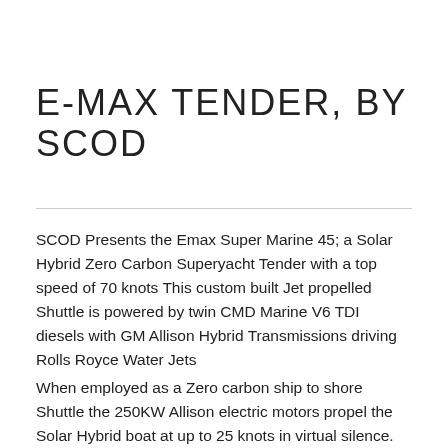E-MAX TENDER, BY SCOD
SCOD Presents the Emax Super Marine 45; a Solar Hybrid Zero Carbon Superyacht Tender with a top speed of 70 knots This custom built Jet propelled Shuttle is powered by twin CMD Marine V6 TDI diesels with GM Allison Hybrid Transmissions driving Rolls Royce Water Jets
When employed as a Zero carbon ship to shore Shuttle the 250KW Allison electric motors propel the Solar Hybrid boat at up to 25 knots in virtual silence. Push the throttles full ahead and the infinitely variable transmission kicks into low gear engaging the V6's Hi – Torque hybrid propulsion to deliver